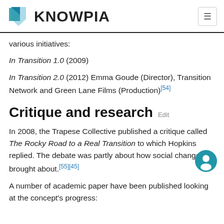KNOWPIA
various initiatives:
In Transition 1.0 (2009)
In Transition 2.0 (2012) Emma Goude (Director), Transition Network and Green Lane Films (Production)[54]
Critique and research Edit
In 2008, the Trapese Collective published a critique called The Rocky Road to a Real Transition to which Hopkins replied. The debate was partly about how social change is brought about.[55][45]
A number of academic paper have been published looking at the concept's progress: